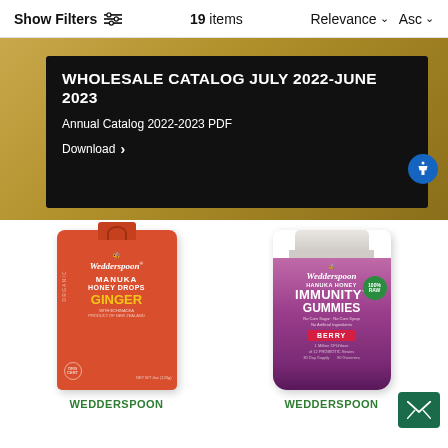Show Filters  19 items  Relevance ∨ Asc ∨
[Figure (screenshot): Wholesale catalog banner with dark background showing title 'WHOLESALE CATALOG JULY 2022-JUNE 2023', subtitle 'Annual Catalog 2022-2023 PDF', and 'Download >' link]
[Figure (photo): Wedderspoon Organic Manuka Honey Drops Ginger product package in red]
[Figure (photo): Wedderspoon Hanuka Honey Immunity Gummies Berry flavor bottle, 90 gummies]
WEDDERSPOON
WEDDERSPOON